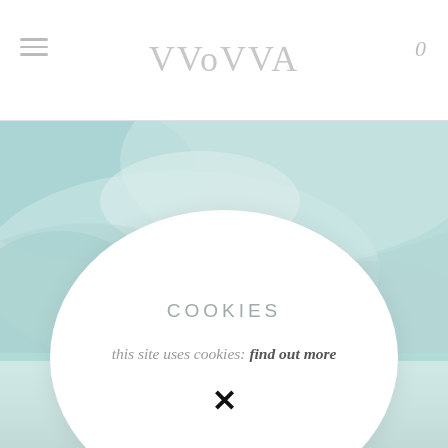WOVVA
[Figure (screenshot): Website screenshot showing the WOVVA art/photography site with a cookie consent modal overlay. The background shows a teal/aqua abstract water-like image at top, and faded teal plant silhouettes at the bottom. A white oval cookie consent dialog is centered over the page with the text 'COOKIES', 'this site uses cookies: find out more', and an X close button. A partial image thumbnail labeled 'Portraits of people I love' is visible at the bottom.]
COOKIES
this site uses cookies: find out more
Portraits of people I love